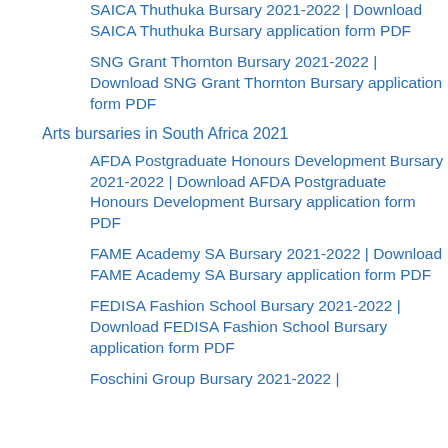SAICA Thuthuka Bursary 2021-2022 | Download SAICA Thuthuka Bursary application form PDF
SNG Grant Thornton Bursary 2021-2022 | Download SNG Grant Thornton Bursary application form PDF
Arts bursaries in South Africa 2021
AFDA Postgraduate Honours Development Bursary 2021-2022 | Download AFDA Postgraduate Honours Development Bursary application form PDF
FAME Academy SA Bursary 2021-2022 | Download FAME Academy SA Bursary application form PDF
FEDISA Fashion School Bursary 2021-2022 | Download FEDISA Fashion School Bursary application form PDF
Foschini Group Bursary 2021-2022 |